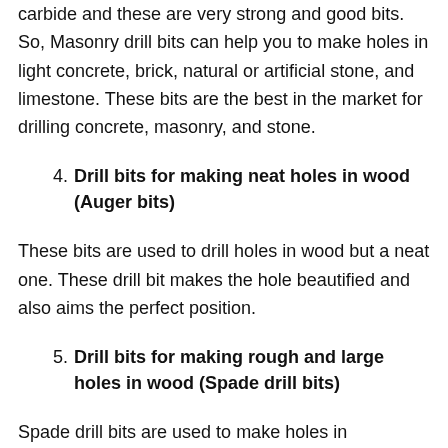carbide and these are very strong and good bits. So, Masonry drill bits can help you to make holes in light concrete, brick, natural or artificial stone, and limestone. These bits are the best in the market for drilling concrete, masonry, and stone.
4. Drill bits for making neat holes in wood (Auger bits)
These bits are used to drill holes in wood but a neat one. These drill bit makes the hole beautified and also aims the perfect position.
5. Drill bits for making rough and large holes in wood (Spade drill bits)
Spade drill bits are used to make holes in...